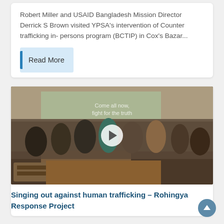Robert Miller and USAID Bangladesh Mission Director Derrick S Brown visited YPSA's intervention of Counter trafficking in- persons program (BCTIP) in Cox's Bazar...
Read More
[Figure (photo): A group of people singing or performing inside a bamboo/thatched structure. Text overlay reads 'Come all now, fight for the truth'. A video play button is visible in the center.]
Singing out against human trafficking – Rohingya Response Project